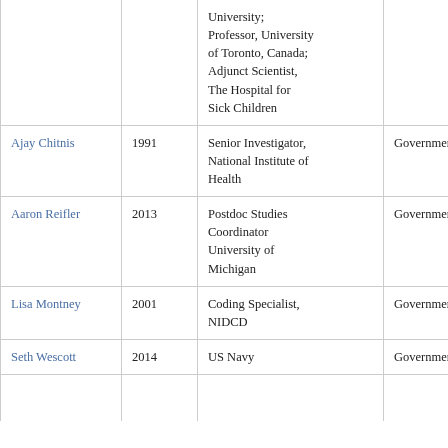| Name | Year | Position | Sector | State |
| --- | --- | --- | --- | --- |
|  |  | University; Professor, University of Toronto, Canada; Adjunct Scientist, The Hospital for Sick Children |  |  |
| Ajay Chitnis | 1991 | Senior Investigator, National Institute of Health | Government | Maryland |
| Aaron Reifler | 2013 | Postdoc Studies Coordinator University of Michigan | Government | Michigan |
| Lisa Montney | 2001 | Coding Specialist, NIDCD | Government | Maryland |
| Seth Wescott | 2014 | US Navy | Government |  |